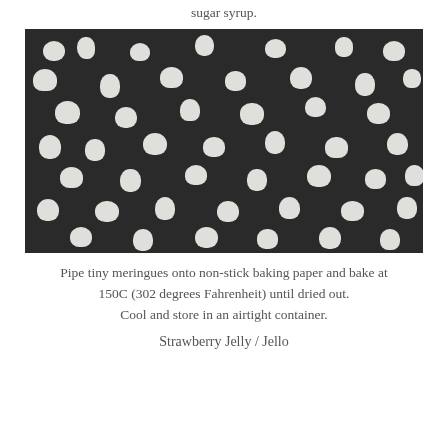sugar syrup.
[Figure (photo): Overhead photo of many small white meringue kisses/chips scattered on a dark (nearly black) baking surface.]
Pipe tiny meringues onto non-stick baking paper and bake at 150C (302 degrees Fahrenheit) until dried out. Cool and store in an airtight container.
Strawberry Jelly / Jello